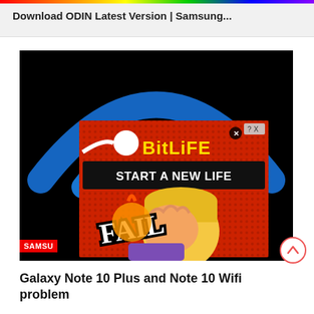Download ODIN Latest Version | Samsung...
[Figure (screenshot): Screenshot of a webpage showing a BitLife advertisement overlaid on a dark background with a blue WiFi-style arc graphic. The ad shows 'BitLife - START A NEW LIFE' with a cartoon blonde character doing a facepalm and the word 'FAIL' displayed. A close button (X) is visible in the top right of the ad.]
SAMSU
Galaxy Note 10 Plus and Note 10 Wifi problem